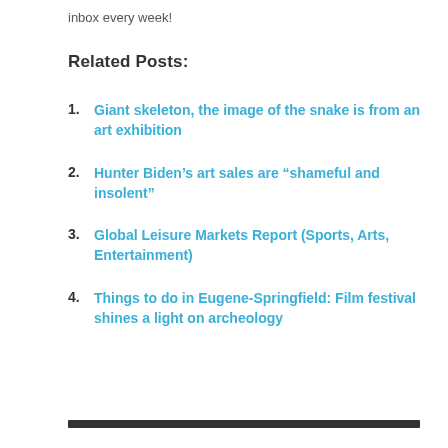inbox every week!
Related Posts:
1. Giant skeleton, the image of the snake is from an art exhibition
2. Hunter Biden’s art sales are “shameful and insolent”
3. Global Leisure Markets Report (Sports, Arts, Entertainment)
4. Things to do in Eugene-Springfield: Film festival shines a light on archeology